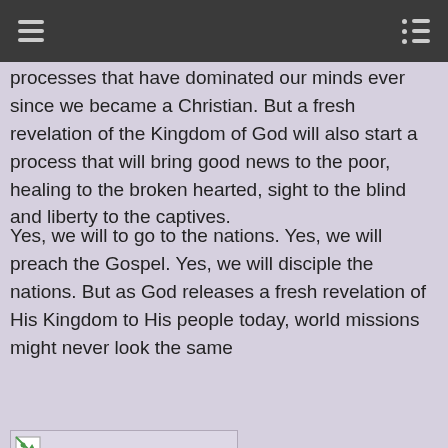dangerous. Dangerous to a system that has been in place for many years and dangerous to thought processes that have dominated our minds ever since we became a Christian. But a fresh revelation of the Kingdom of God will also start a process that will bring good news to the poor, healing to the broken hearted, sight to the blind and liberty to the captives.
Yes, we will to go to the nations. Yes, we will preach the Gospel. Yes, we will disciple the nations. But as God releases a fresh revelation of His Kingdom to His people today, world missions might never look the same
[Figure (other): Broken/missing image placeholder with small icon in top-left corner]